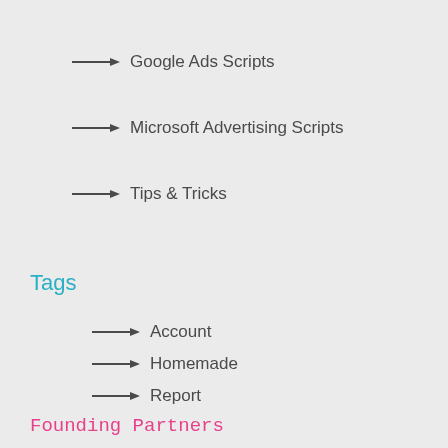Google Ads Scripts
Microsoft Advertising Scripts
Tips & Tricks
Tags
Account
Homemade
Report
External
MCC
Founding Partners